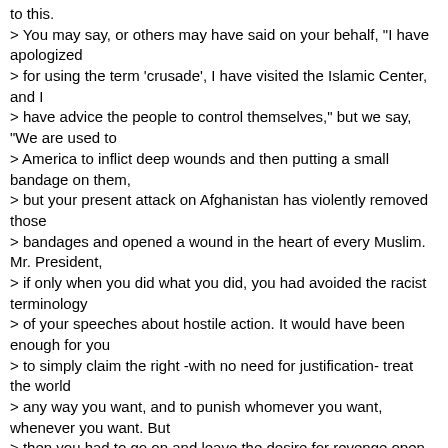to this.
&gt; You may say, or others may have said on your behalf, "I have apologized
&gt; for using the term 'crusade', I have visited the Islamic Center, and I
&gt; have advice the people to control themselves," but we say, "We are used to
&gt; America to inflict deep wounds and then putting a small bandage on them,
&gt; but your present attack on Afghanistan has violently removed those
&gt; bandages and opened a wound in the heart of every Muslim. Mr. President,
&gt; if only when you did what you did, you had avoided the racist terminology
&gt; of your speeches about hostile action. It would have been enough for you
&gt; to simply claim the right -with no need for justification- treat the world
&gt; any way you want, and to punish whomever you want, whenever you want. But
&gt; then you had to go on and leave the desire for revenge open without any
&gt; end in sight when you said " Today we will concentrate on Afghanistan, but
&gt; the battle is wider than that." Is it not enough for you to destroy a
&gt; whole nation because of an unproven accusation against a single person or
&gt; organization forced to live in that country? Is this hostility which
&gt; exceeds all values and morals, and shakes every living